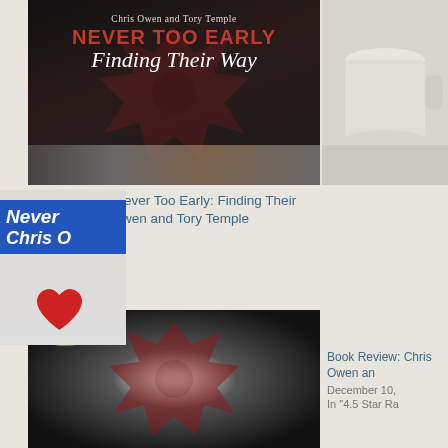[Figure (illustration): Book cover for 'Never Too Early: Finding Their Way' by Chris Owen and Tory Temple. Dark background with red firefighter maltese cross emblem, script and bold text.]
Book Review: Never Too Early: Finding Their Way by Chris Owen and Tory Temple
April 27, 2015
In "4 Star Ratings"
[Figure (photo): Partial book cover or promotional image at bottom left, dark with red maltese cross emblem and green/yellow element.]
[Figure (photo): Right top: partial image showing a mug or cup on a light background.]
[Figure (illustration): Right middle: blue label/banner with 'Never' and 'Chris O' text visible (partial), with a red heart below.]
Book Review: Chris Owen an
December 10,
In "4.5 Star Ra